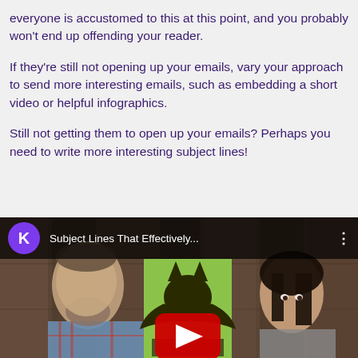everyone is accustomed to this at this point, and you probably won't end up offending your reader.
If they're still not opening up your emails, vary your approach to send more interesting emails, such as embedding a short video or helpful infographics.
Still not getting them to open up your emails? Perhaps you need to write more interesting subject lines!
[Figure (screenshot): YouTube video thumbnail showing two people (a man with a beard in a plaid shirt and a woman with dark hair) with a green batman poster between them and a YouTube play button in the center. Overlay bar at top shows a purple K channel icon and title 'Subject Lines That Effectively...' with a three-dot menu.]